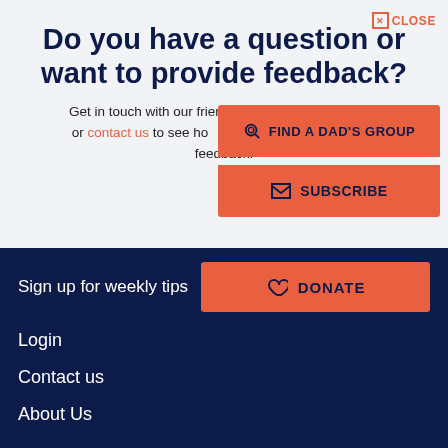Do you have a question or want to provide feedback?
Get in touch with our friendly team on 1300 328 437 or contact us to see how we can help, or to provide feedback.
[Figure (screenshot): Orange popup overlay with two buttons: FIND A DAD'S GROUP (with search icon) and SUBSCRIBE (with envelope icon). A CLOSE button with X icon appears top-right.]
Sign up for weekly tips
[Figure (screenshot): Orange DONATE button with heart icon]
Login
Contact us
About Us